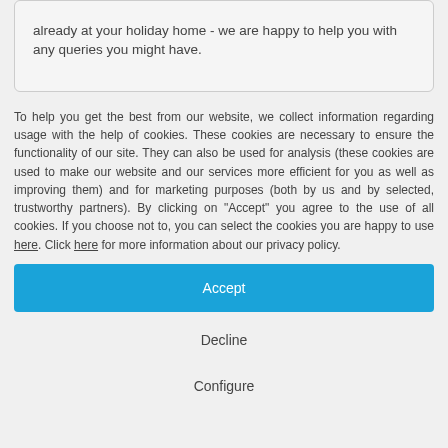already at your holiday home - we are happy to help you with any queries you might have.
To help you get the best from our website, we collect information regarding usage with the help of cookies. These cookies are necessary to ensure the functionality of our site. They can also be used for analysis (these cookies are used to make our website and our services more efficient for you as well as improving them) and for marketing purposes (both by us and by selected, trustworthy partners). By clicking on "Accept" you agree to the use of all cookies. If you choose not to, you can select the cookies you are happy to use here. Click here for more information about our privacy policy.
Accept
Decline
Configure